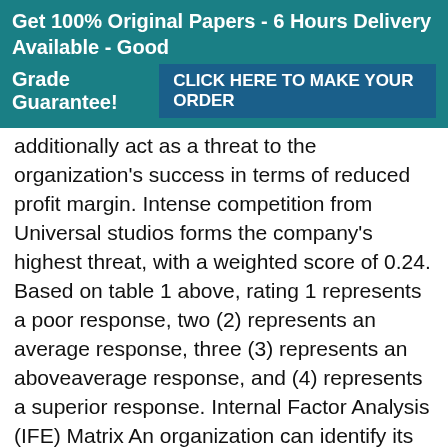Get 100% Original Papers - 6 Hours Delivery Available - Good Grade Guarantee! CLICK HERE TO MAKE YOUR ORDER
additionally act as a threat to the organization's success in terms of reduced profit margin. Intense competition from Universal studios forms the company's highest threat, with a weighted score of 0.24. Based on table 1 above, rating 1 represents a poor response, two (2) represents an average response, three (3) represents an aboveaverage response, and (4) represents a superior response. Internal Factor Analysis (IFE) Matrix An organization can identify its strengths and weaknesses through Internal Factor Evaluation (IFE), evaluating the top 15 strengths and weaknesses (David & David